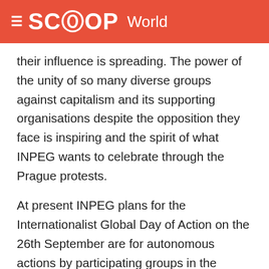≡ SCOOP World
their influence is spreading. The power of the unity of so many diverse groups against capitalism and its supporting organisations despite the opposition they face is inspiring and the spirit of what INPEG wants to celebrate through the Prague protests.
At present INPEG plans for the Internationalist Global Day of Action on the 26th September are for autonomous actions by participating groups in the morning and a march in the afternoon from the park Namesti Jiriho z Podelad to the Congress centre (site of the summit) via Namesti Miru. Participating groups are all mobilising their own countries' demonstrators arrival and convergence in Prague. However police